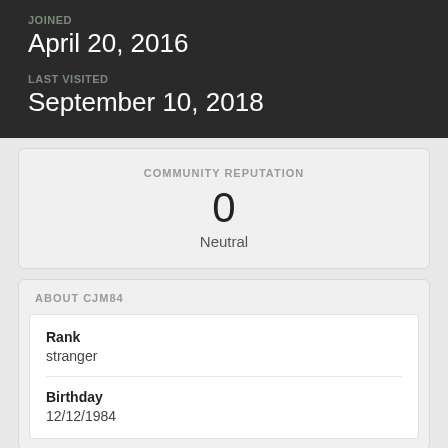JOINED
April 20, 2016
LAST VISITED
September 10, 2018
COMMUNITY REPUTATION
0
Neutral
ABOUT CJM84
Rank
stranger
Birthday
12/12/1984
CONVERTED
Location
WA